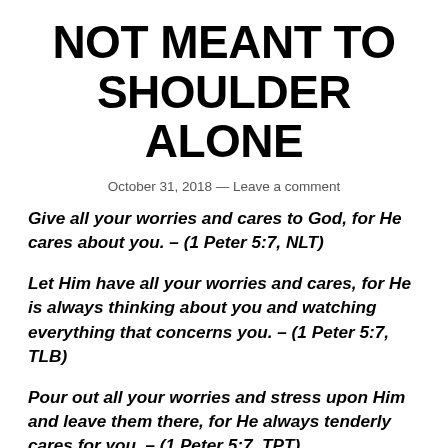NOT MEANT TO SHOULDER ALONE
October 31, 2018 — Leave a comment
Give all your worries and cares to God, for He cares about you. – (1 Peter 5:7, NLT)
Let Him have all your worries and cares, for He is always thinking about you and watching everything that concerns you. – (1 Peter 5:7, TLB)
Pour out all your worries and stress upon Him and leave them there, for He always tenderly cares for you. – (1 Peter 5:7, TPT)